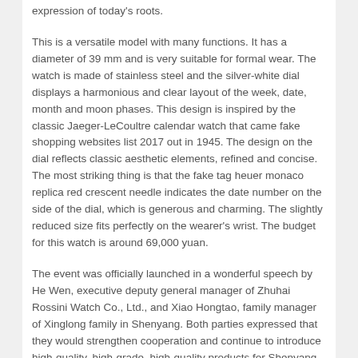expression of today's roots.
This is a versatile model with many functions. It has a diameter of 39 mm and is very suitable for formal wear. The watch is made of stainless steel and the silver-white dial displays a harmonious and clear layout of the week, date, month and moon phases. This design is inspired by the classic Jaeger-LeCoultre calendar watch that came fake shopping websites list 2017 out in 1945. The design on the dial reflects classic aesthetic elements, refined and concise. The most striking thing is that the fake tag heuer monaco replica red crescent needle indicates the date number on the side of the dial, which is generous and charming. The slightly reduced size fits perfectly on the wearer's wrist. The budget for this watch is around 69,000 yuan.
The event was officially launched in a wonderful speech by He Wen, executive deputy general manager of Zhuhai Rossini Watch Co., Ltd., and Xiao Hongtao, family manager of Xinglong family in Shenyang. Both parties expressed that they would strengthen cooperation and continue to introduce high-quality, high-grade, high-quality products for Shenyang high quality rolex replicas for